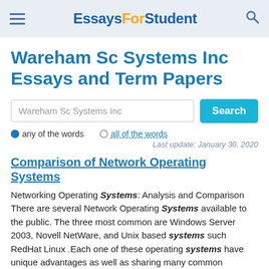EssaysForStudent
Wareham Sc Systems Inc Essays and Term Papers
Wareham Sc Systems Inc [search input]
any of the words   all of the words
Last update: January 30, 2020
Comparison of Network Operating Systems
Networking Operating Systems: Analysis and Comparison There are several Network Operating Systems available to the public. The three most common are Windows Server 2003, Novell NetWare, and Unix based systems such RedHat Linux .Each one of these operating systems have unique advantages as well as sharing many common